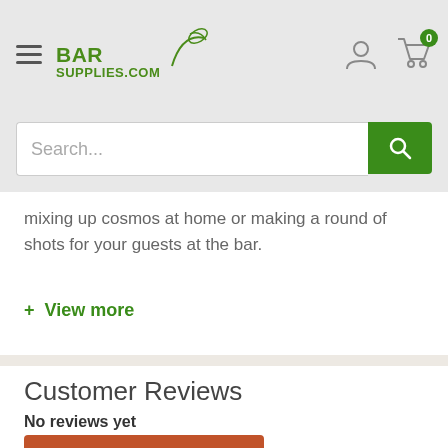BarSupplies.com — navigation header with logo, search bar, user icon, and cart icon (0 items)
mixing up cosmos at home or making a round of shots for your guests at the bar.
+ View more
Customer Reviews
No reviews yet
Write a review